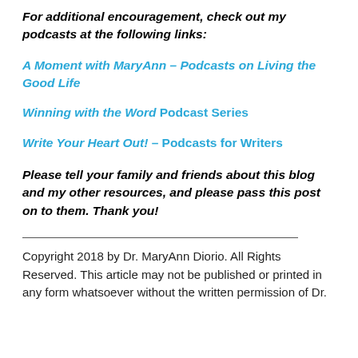For additional encouragement, check out my podcasts at the following links:
A Moment with MaryAnn – Podcasts on Living the Good Life
Winning with the Word Podcast Series
Write Your Heart Out! – Podcasts for Writers
Please tell your family and friends about this blog and my other resources, and please pass this post on to them. Thank you!
Copyright 2018 by Dr. MaryAnn Diorio. All Rights Reserved. This article may not be published or printed in any form whatsoever without the written permission of Dr.